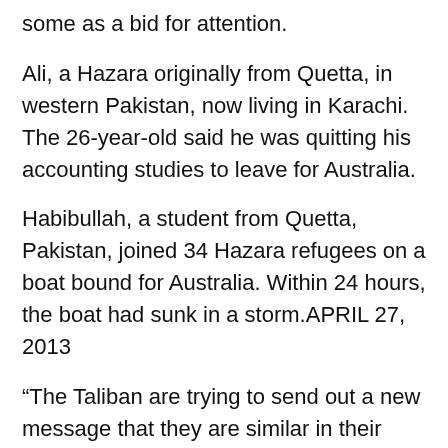some as a bid for attention.
Ali, a Hazara originally from Quetta, in western Pakistan, now living in Karachi. The 26-year-old said he was quitting his accounting studies to leave for Australia.
Habibullah, a student from Quetta, Pakistan, joined 34 Hazara refugees on a boat bound for Australia. Within 24 hours, the boat had sunk in a storm.APRIL 27, 2013
“The Taliban are trying to send out a new message that they are similar in their brutality to ISIS,” said Shahgul Rezaye, a Hazara member of Parliament, referring to Islamic State extremists from Iraq and Syria, who have